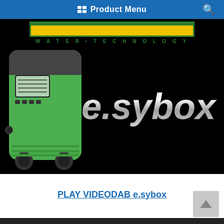Product Menu
[Figure (photo): DAB Water Technology product page screenshot showing a green e.sybox pump unit on a black background with 'WATER•TECHNOLOGY' text and 'e.sybox' chrome logo]
PLAY VIDEODAB e.sybox